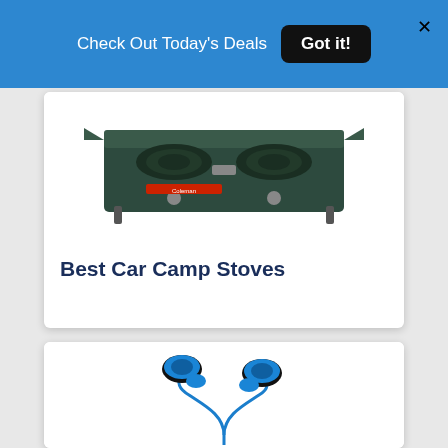Check Out Today's Deals  Got it!
[Figure (photo): Camp stove (Coleman two-burner camp stove) shown from above, dark green/black metal body with two burners and knobs]
Best Car Camp Stoves
[Figure (photo): Blue and black in-ear earphones/earbuds with metallic blue accents and blue cable]